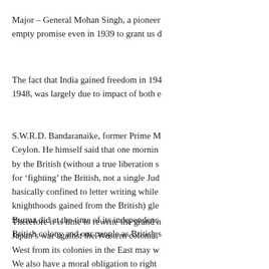Major – General Mohan Singh, a pioneer... empty promise even in 1939 to grant us d...
The fact that India gained freedom in 194... 1948, was largely due to impact of both e...
S.W.R.D. Bandaranaike, former Prime M... Ceylon. He himself said that one mornin... by the British (without a true liberation s... for 'fighting' the British, not a single Jud... basically confined to letter writing while... knighthoods gained from the British) gle... Burma did at the time of its independenc... British colony and our people as British s...
Therefore it is time to rewrite the grand n... Japan's war against the Western colonial... West from its colonies in the East may w... We also have a moral obligation to right... an aggressor with criminal intent to plu...